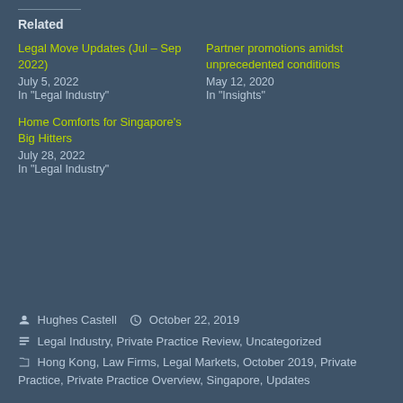Related
Legal Move Updates (Jul – Sep 2022)
July 5, 2022
In "Legal Industry"
Partner promotions amidst unprecedented conditions
May 12, 2020
In "Insights"
Home Comforts for Singapore's Big Hitters
July 28, 2022
In "Legal Industry"
Hughes Castell  October 22, 2019  Legal Industry, Private Practice Review, Uncategorized  Hong Kong, Law Firms, Legal Markets, October 2019, Private Practice, Private Practice Overview, Singapore, Updates